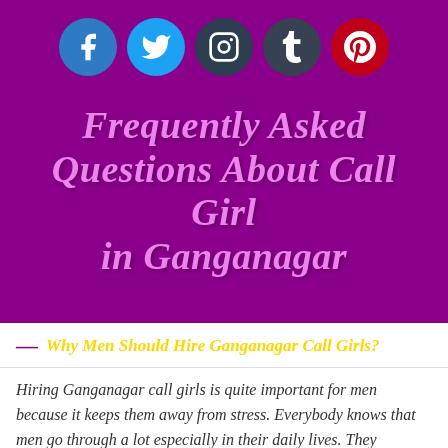[Figure (infographic): Social media icons: Facebook (blue circle), Twitter (light blue circle), Instagram (dark circle), Tumblr (dark gray circle), Pinterest (red circle)]
Frequently Asked Questions About Call Girl in Ganganagar
— Why Men Should Hire Ganganagar Call Girls?
Hiring Ganganagar call girls is quite important for men because it keeps them away from stress. Everybody knows that men go through a lot especially in their daily lives. They